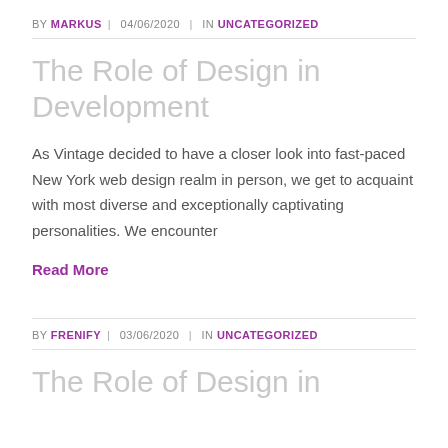BY MARKUS | 04/06/2020 | IN UNCATEGORIZED
The Role of Design in Development
As Vintage decided to have a closer look into fast-paced New York web design realm in person, we get to acquaint with most diverse and exceptionally captivating personalities. We encounter
Read More
BY FRENIFY | 03/06/2020 | IN UNCATEGORIZED
The Role of Design in